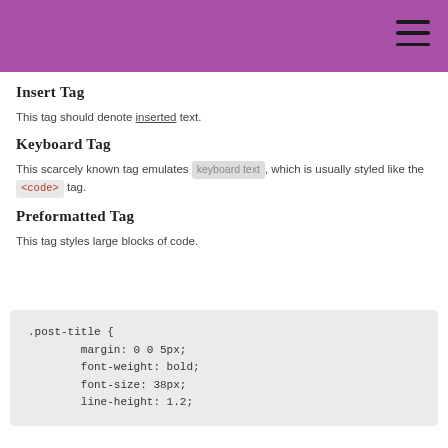Insert Tag
This tag should denote inserted text.
Keyboard Tag
This scarcely known tag emulates keyboard text, which is usually styled like the <code> tag.
Preformatted Tag
This tag styles large blocks of code.
.post-title {
    margin: 0 0 5px;
    font-weight: bold;
    font-size: 38px;
    line-height: 1.2;